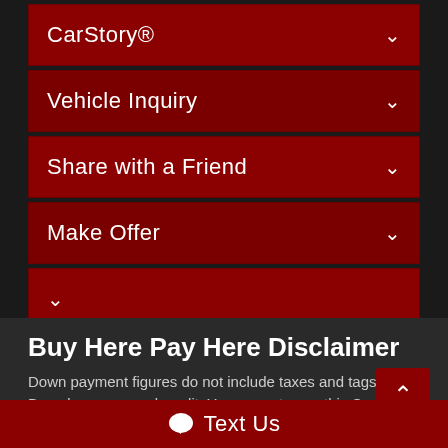CarStory®
Vehicle Inquiry
Share with a Friend
Make Offer
Buy Here Pay Here Disclaimer
Down payment figures do not include taxes and tags. Based on approved credit. You agree to pay this Contract according to the payment schedule and late charge provisions shown in the TRUTH-IN-LENDING
Text Us